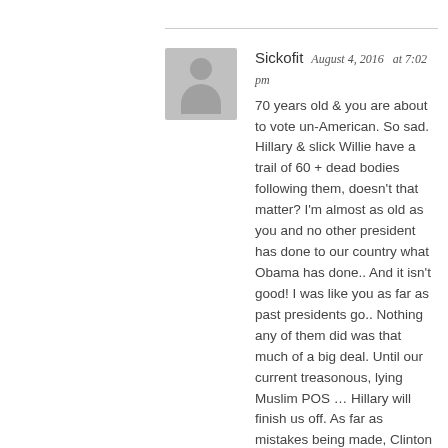[Figure (illustration): Gray placeholder avatar image showing a silhouette of a person]
Sickofit  August 4, 2016  at 7:02 pm
70 years old & you are about to vote un-American. So sad. Hillary & slick Willie have a trail of 60 + dead bodies following them, doesn't that matter? I'm almost as old as you and no other president has done to our country what Obama has done.. And it isn't good! I was like you as far as past presidents go.. Nothing any of them did was that much of a big deal. Until our current treasonous, lying Muslim POS … Hillary will finish us off. As far as mistakes being made, Clinton & Obama don't make mistakes, their destruction is intentional. Doesn't that worry